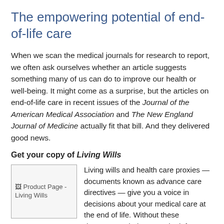The empowering potential of end-of-life care
When we scan the medical journals for research to report, we often ask ourselves whether an article suggests something many of us can do to improve our health or well-being. It might come as a surprise, but the articles on end-of-life care in recent issues of the Journal of the American Medical Association and The New England Journal of Medicine actually fit that bill. And they delivered good news.
Get your copy of Living Wills
[Figure (illustration): Product Page - Living Wills book cover image placeholder]
Living wills and health care proxies — documents known as advance care directives — give you a voice in decisions about your medical care at the end of life. Without these documents, choices may be left up to a doctor or a judge — someone who does not know your values, beliefs, or preferences. This Special Health Report, Living Wills: A guide to advance directives, the health care power of attorney, and other key documents, will help you plan ahead and create legal documents to